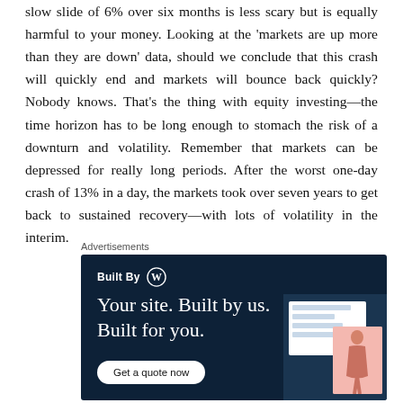slow slide of 6% over six months is less scary but is equally harmful to your money. Looking at the 'markets are up more than they are down' data, should we conclude that this crash will quickly end and markets will bounce back quickly? Nobody knows. That's the thing with equity investing—the time horizon has to be long enough to stomach the risk of a downturn and volatility. Remember that markets can be depressed for really long periods. After the worst one-day crash of 13% in a day, the markets took over seven years to get back to sustained recovery—with lots of volatility in the interim.
Advertisements
[Figure (other): WordPress advertisement banner with dark navy background. Shows 'Built By WP' logo at top left, tagline 'Your site. Built by us. Built for you.' in white serif text, a 'Get a quote now' button in white pill shape, and a partial screenshot mockup with a pink fashion image at right.]